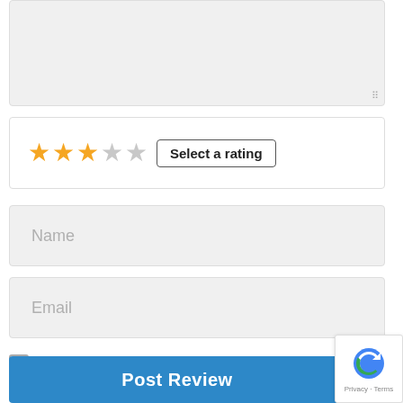[Figure (screenshot): Textarea input box with resize handle at bottom right]
[Figure (screenshot): Star rating selector showing 2.5 stars filled (orange) and 2.5 empty (grey), with a 'Select a rating' button]
[Figure (screenshot): Name input field with placeholder text 'Name']
[Figure (screenshot): Email input field with placeholder text 'Email']
Save my name, email, and website in this browser for the next time I comment.
[Figure (screenshot): Post Review button (blue) and reCAPTCHA badge with Privacy and Terms links]